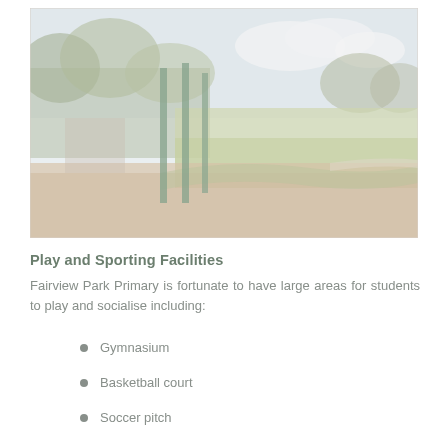[Figure (photo): Outdoor playground and sports oval at Fairview Park Primary School. Shows bark chip area in foreground with green metal poles, and a large grass oval behind. Trees and blue sky visible in background.]
Play and Sporting Facilities
Fairview Park Primary is fortunate to have large areas for students to play and socialise including:
Gymnasium
Basketball court
Soccer pitch
Football oval